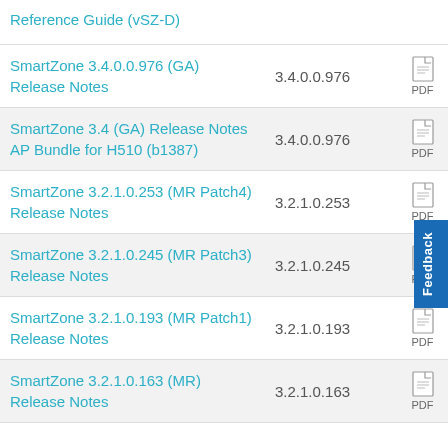| Document Name | Version | Type | Date |
| --- | --- | --- | --- |
| Reference Guide (vSZ-D) |  | PDF | 06 |
| SmartZone 3.4.0.0.976 (GA) Release Notes | 3.4.0.0.976 | PDF | 06 |
| SmartZone 3.4 (GA) Release Notes AP Bundle for H510 (b1387) | 3.4.0.0.976 | PDF |  |
| SmartZone 3.2.1.0.253 (MR Patch4) Release Notes | 3.2.1.0.253 | PDF | 06 |
| SmartZone 3.2.1.0.245 (MR Patch3) Release Notes | 3.2.1.0.245 | PDF | 06 |
| SmartZone 3.2.1.0.193 (MR Patch1) Release Notes | 3.2.1.0.193 | PDF | 06 |
| SmartZone 3.2.1.0.163 (MR) Release Notes | 3.2.1.0.163 | PDF | 06 |